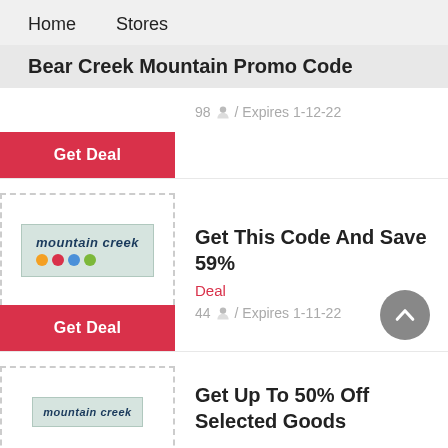Home    Stores
Bear Creek Mountain Promo Code
98 / Expires 1-12-22
[Figure (logo): Mountain Creek logo with colorful dots]
Get This Code And Save 59%
Deal
44 / Expires 1-11-22
[Figure (logo): Mountain Creek logo partial view]
Get Up To 50% Off Selected Goods